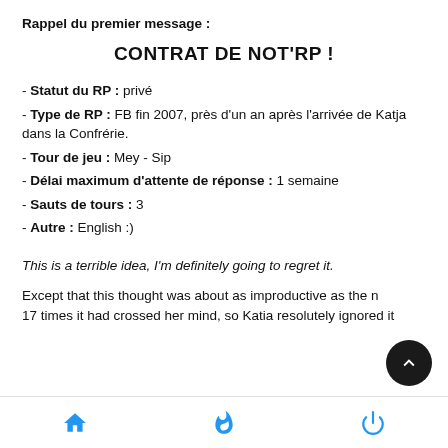Rappel du premier message :
CONTRAT DE NOT'RP !
- Statut du RP : privé
- Type de RP : FB fin 2007, près d'un an après l'arrivée de Katja dans la Confrérie.
- Tour de jeu : Mey - Sip
- Délai maximum d'attente de réponse : 1 semaine
- Sauts de tours : 3
- Autre : English :)
This is a terrible idea, I'm definitely going to regret it.
Except that this thought was about as improductive as the n 17 times it had crossed her mind, so Katia resolutely ignored it
[navigation icons: home, fire, power]